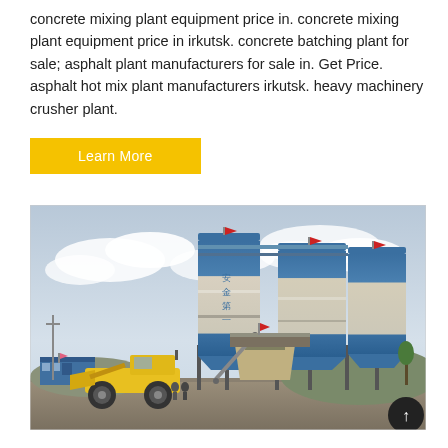concrete mixing plant equipment price in. concrete mixing plant equipment price in irkutsk. concrete batching plant for sale; asphalt plant manufacturers for sale in. Get Price. asphalt hot mix plant manufacturers irkutsk. heavy machinery crusher plant.
Learn More
[Figure (photo): Photograph of a concrete mixing plant with large cylindrical silos (blue and white) bearing Chinese characters for 'safety first', a yellow front loader, industrial equipment, and a small blue building. Cloudy sky in background.]